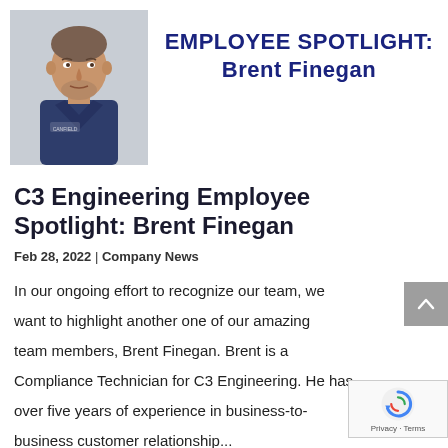[Figure (photo): Headshot of Brent Finegan, a man in a navy blue polo shirt with a company logo, light-colored background]
EMPLOYEE SPOTLIGHT: Brent Finegan
C3 Engineering Employee Spotlight: Brent Finegan
Feb 28, 2022 | Company News
In our ongoing effort to recognize our team, we want to highlight another one of our amazing team members, Brent Finegan. Brent is a Compliance Technician for C3 Engineering. He has over five years of experience in business-to-business customer relationship...